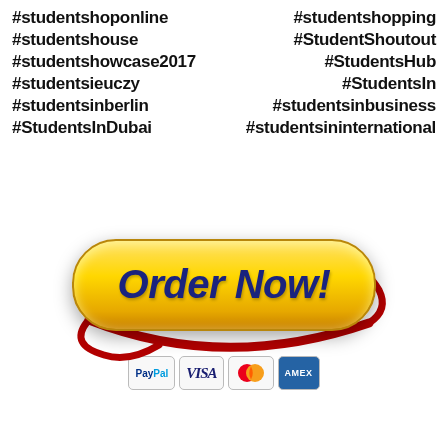#studentshoponline  #studentshopping
#studentshouse  #StudentShoutout
#studentshowcase2017  #StudentsHub
#studentsieuczy  #StudentsIn
#studentsinberlin  #studentsinbusiness
#StudentsInDubai  #studentsininternational
[Figure (illustration): Yellow 'Order Now!' pill-shaped button with dark red swoosh ring around it, and payment icons (PayPal, VISA, Mastercard, AMEX) below]